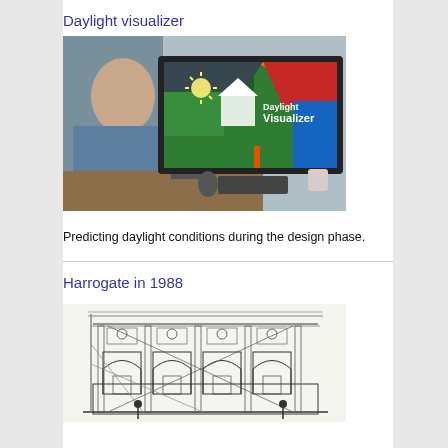Daylight visualizer
[Figure (photo): Person sitting at desk viewing a monitor displaying a colorful heat-map daylight visualization of a building interior with 'Daylight Visualizer' logo overlay]
Predicting daylight conditions during the design phase.
Harrogate in 1988
[Figure (engineering-diagram): Architectural line drawing showing a classical building facade elevation with arched windows, columns, ornamental details, and construction scaffolding lines, from Harrogate 1988]